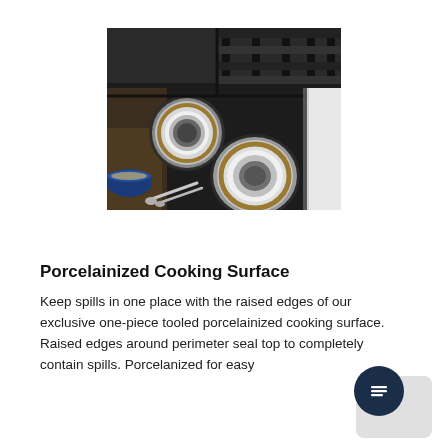[Figure (photo): Close-up photograph of a black gas cooktop/range surface showing two circular burner caps with gold and white detailing, set into a dark porcelainized surface with cast iron grate supports. A blue bowl and silver spoons are visible in the lower left corner.]
Porcelainized Cooking Surface
Keep spills in one place with the raised edges of our exclusive one-piece tooled porcelainized cooking surface. Raised edges around perimeter seal top to completely contain spills. Porcelanized for easy cleaning, durability, and long-lasting finish.